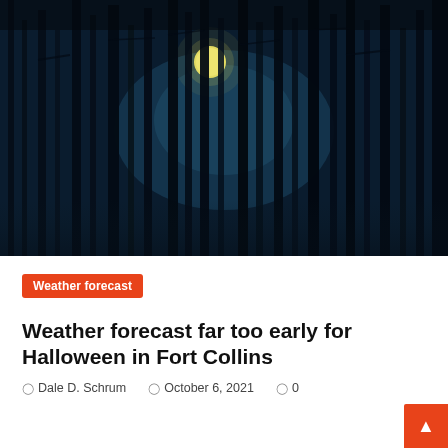[Figure (photo): Dark moody forest at night with tall tree trunks silhouetted against a blue-teal misty sky, with a full moon visible between the trees]
Weather forecast
Weather forecast far too early for Halloween in Fort Collins
Dale D. Schrum   October 6, 2021   0